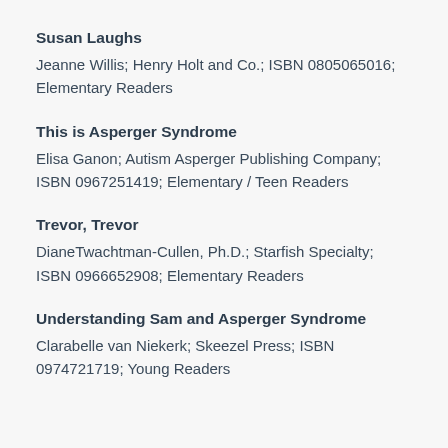Susan Laughs
Jeanne Willis; Henry Holt and Co.; ISBN 0805065016; Elementary Readers
This is Asperger Syndrome
Elisa Ganon; Autism Asperger Publishing Company; ISBN 0967251419; Elementary / Teen Readers
Trevor, Trevor
DianeTwachtman-Cullen, Ph.D.; Starfish Specialty; ISBN 0966652908; Elementary Readers
Understanding Sam and Asperger Syndrome
Clarabelle van Niekerk; Skeezel Press; ISBN 0974721719; Young Readers